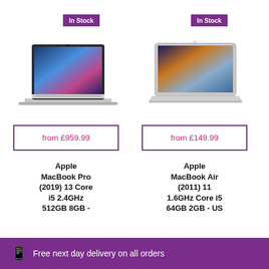In Stock
In Stock
[Figure (photo): Apple MacBook Pro 2019 13-inch laptop, open, showing colorful wallpaper]
[Figure (photo): Apple MacBook Air 2011 11-inch laptop, open, showing galaxy wallpaper]
from £959.99
from £149.99
Apple MacBook Pro (2019) 13 Core i5 2.4GHz 512GB 8GB -
Apple MacBook Air (2011) 11 1.6GHz Core i5 64GB 2GB - US
Free next day delivery on all orders